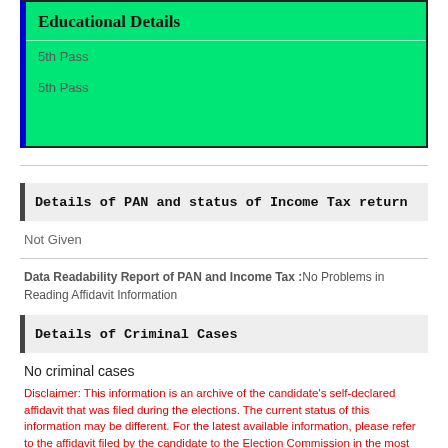Educational Details
5th Pass
5th Pass
Details of PAN and status of Income Tax return
Not Given
Data Readability Report of PAN and Income Tax :No Problems in Reading Affidavit Information
Details of Criminal Cases
No criminal cases
Disclaimer: This information is an archive of the candidate’s self-declared affidavit that was filed during the elections. The current status of this information may be different. For the latest available information, please refer to the affidavit filed by the candidate to the Election Commission in the most recent election.